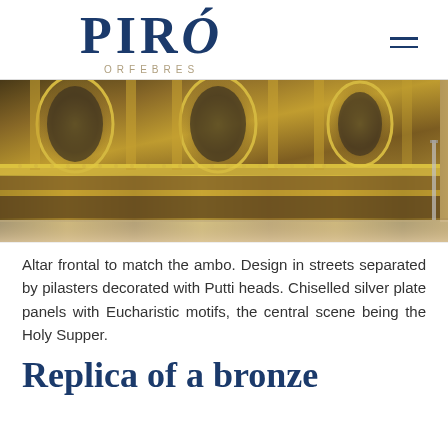PIRÓ ORFEBRES
[Figure (photo): Close-up photograph of an ornate gilt bronze altar frontal with decorative panels featuring oval medallions, pilasters, and intricate gold ornamentation on a marble floor background.]
Altar frontal to match the ambo. Design in streets separated by pilasters decorated with Putti heads. Chiselled silver plate panels with Eucharistic motifs, the central scene being the Holy Supper.
Replica of a bronze